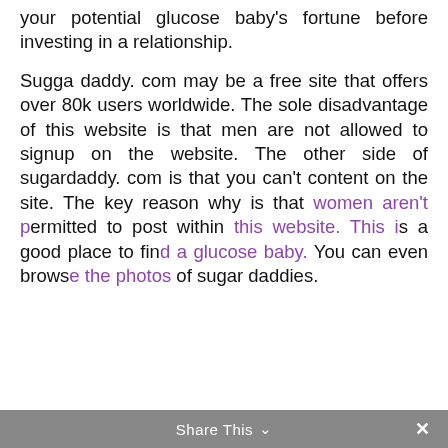your potential glucose baby's fortune before investing in a relationship.
Sugga daddy. com may be a free site that offers over 80k users worldwide. The sole disadvantage of this website is that men are not allowed to signup on the website. The other side of sugardaddy. com is that you can't content on the site. The key reason why is that women aren't permitted to post within this website. This is a good place to find a glucose baby. You can even browse the photos of sugar daddies.
[Figure (screenshot): Cookie consent popup overlay in purple with Hungarian text: 'A honlap további használatához a sütik használatát el kell fogadni.' with link 'További információ' and button 'Elfogad']
Share This ∨  ×